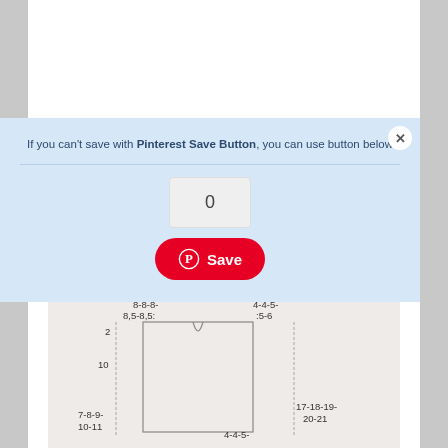If you can't save with Pinterest Save Button, you can use button below
0
Save
[Figure (schematic): Knitting pattern schematic diagram with measurements labeled: 8-8-8-8.5-8.5, 4-4-5-5-6, 2, 10, 7-8-9-10-11, 17-18-19-20-21, 4-4-5-]